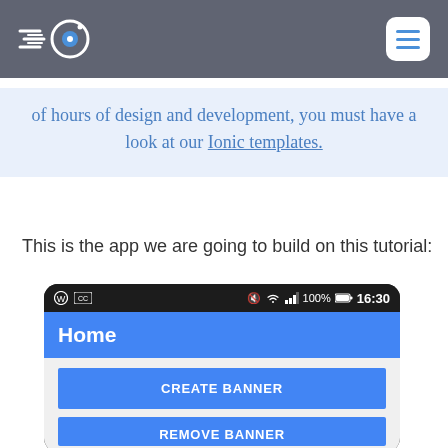[Navigation bar with Ionic logo and hamburger menu]
of hours of design and development, you must have a look at our Ionic templates.
This is the app we are going to build on this tutorial:
[Figure (screenshot): Android phone screenshot showing a mobile app with a dark status bar showing 16:30 and 100% battery, a blue header labeled 'Home', a white content area with a blue 'CREATE BANNER' button, and a partially visible 'REMOVE BANNER' button below.]